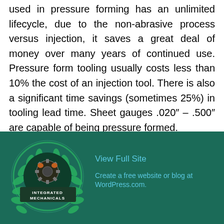used in pressure forming has an unlimited lifecycle, due to the non-abrasive process versus injection, it saves a great deal of money over many years of continued use. Pressure form tooling usually costs less than 10% the cost of an injection tool. There is also a significant time savings (sometimes 25%) in tooling lead time. Sheet gauges .020″ – .500″ are capable of being pressure formed.
August 22, 2011    2 Replies
[Figure (logo): Integrated Mechanicals logo — circular emblem with green laurel wreath and gear, text reads INTEGRATED MECHANICALS]
View Full Site
Create a free website or blog at WordPress.com.